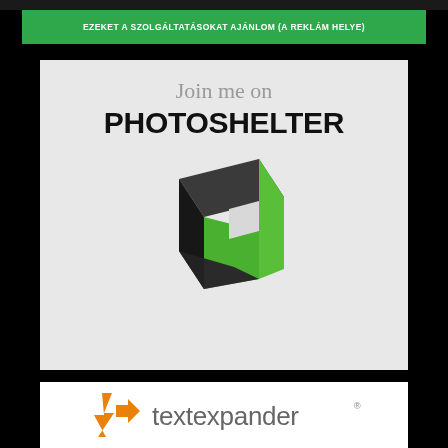EZEKET A SZOLGÁLTATÁSOKAT AJÁNLOM (A REKLÁM HELYE)
[Figure (logo): PhotoShelter promotional ad with text 'Join me on PHOTOSHELTER' and a 3D box logo in dark gray and green on a light gray background]
[Figure (logo): TextExpander logo with orange lightning bolt icon and gray 'textexpander' wordmark with registered trademark superscript]